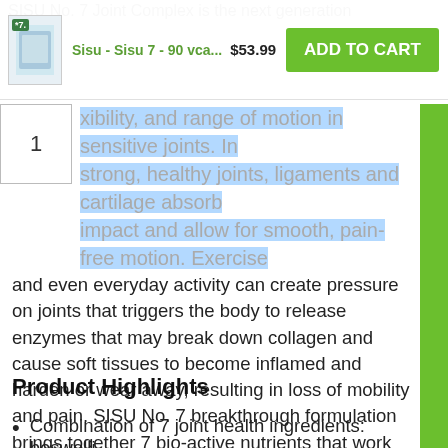SISU No. 7 Joint Complex is the next generation...
[Figure (screenshot): Add to cart sticky bar with product image thumbnail, Sisu - Sisu 7 - 90 vca... label, $53.99 price, and green ADD TO CART button]
flexibility, and range of motion in sensitive joints. In strong, healthy joints, ligaments and cartilage absorb impact and allow for smooth, pain-free motion. Exercise and even everyday activity can create pressure on joints that triggers the body to release enzymes that may break down collagen and cause soft tissues to become inflamed and harden or wear away, resulting in loss of mobility and pain. SISU No. 7 breakthrough formulation brings together 7 bio-active nutrients that work together in just 7 days to relieve joint pain and stiffness so you can get back into the action - without the potential side effects and risks of over-the-counter and prescription anti-inflammatories and pain-killers.
Product Highlights
Combination of 7 joint health ingredients: boswelli